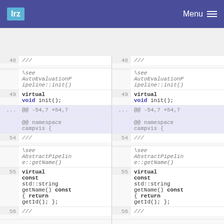lrz  Menu
[Figure (screenshot): Code diff view showing two side-by-side panes with line numbers and code. Lines 48-56 shown in both panes with C++ header diff content including virtual void init(), namespace campvis, virtual const std::string getName() const { return getId(); };]